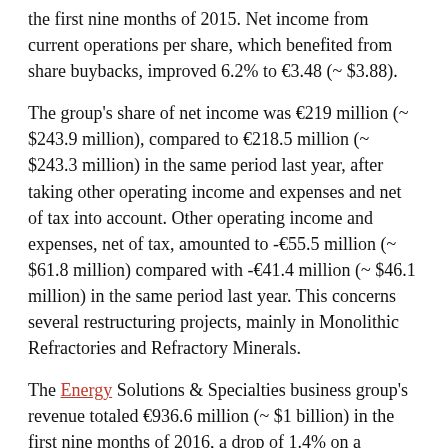the first nine months of 2015. Net income from current operations per share, which benefited from share buybacks, improved 6.2% to €3.48 (~ $3.88).
The group's share of net income was €219 million (~ $243.9 million), compared to €218.5 million (~ $243.3 million) in the same period last year, after taking other operating income and expenses and net of tax into account. Other operating income and expenses, net of tax, amounted to -€55.5 million (~ $61.8 million) compared with -€41.4 million (~ $46.1 million) in the same period last year. This concerns several restructuring projects, mainly in Monolithic Refractories and Refractory Minerals.
The Energy Solutions & Specialties business group's revenue totaled €936.6 million (~ $1 billion) in the first nine months of 2016, a drop of 1.4% on a reported basis. This decrease factors in a positive structure effect of €40.6